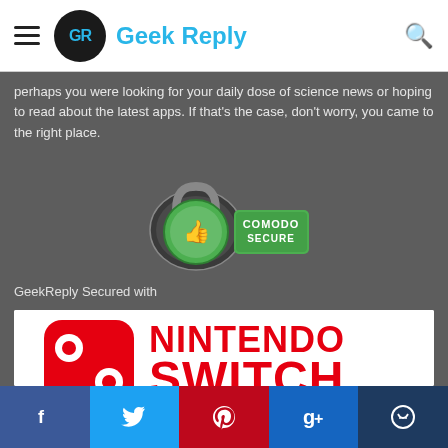Geek Reply
perhaps you were looking for your daily dose of science news or hoping to read about the latest apps. If that's the case, don't worry, you came to the right place.
[Figure (logo): Comodo Secure badge — green circular lock icon with thumbs up and 'COMODO SECURE' text in green]
GeekReply Secured with
[Figure (photo): Nintendo Switch product box and console — red box with Nintendo Switch logo in red and white, hand touching the screen/dock area]
Social share buttons: Facebook, Twitter, Pinterest, Google+, Comment